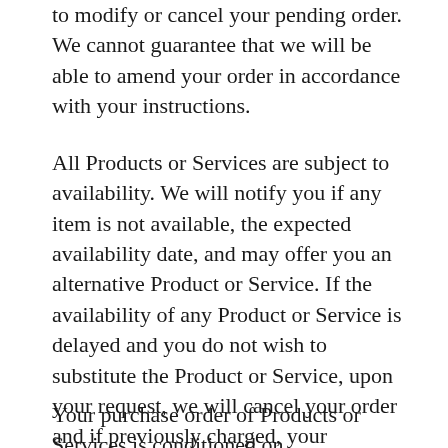to modify or cancel your pending order. We cannot guarantee that we will be able to amend your order in accordance with your instructions.
All Products or Services are subject to availability. We will notify you if any item is not available, the expected availability date, and may offer you an alternative Product or Service. If the availability of any Product or Service is delayed and you do not wish to substitute the Product or Service, upon your request, we will cancel your order and if previously charged, your payment card will be fully refunded for that specific order. We reserve the right to limit the sales of our Products and Services to any person, geographic region, or jurisdiction. We may exercise this right on a case-by-case basis at our sole and exclusive discretion.
Your purchase order of Products or Services is conditioned on...